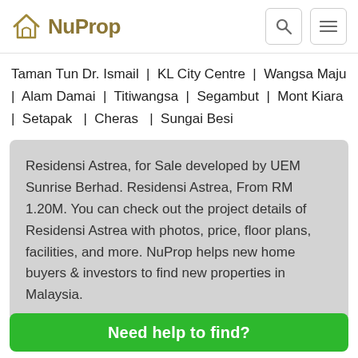NuProp
Taman Tun Dr. Ismail | KL City Centre | Wangsa Maju | Alam Damai | Titiwangsa | Segambut | Mont Kiara | Setapak | Cheras | Sungai Besi
Residensi Astrea, for Sale developed by UEM Sunrise Berhad. Residensi Astrea, From RM 1.20M. You can check out the project details of Residensi Astrea with photos, price, floor plans, facilities, and more. NuProp helps new home buyers & investors to find new properties in Malaysia.
Need help to find?